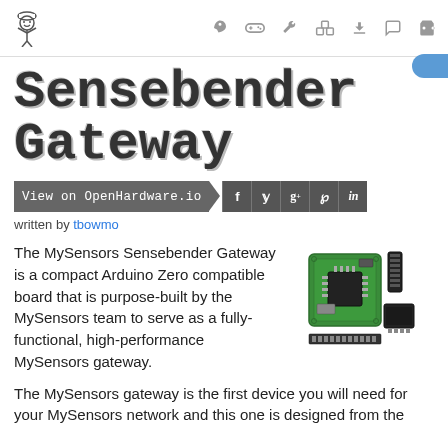Sensebender Gateway – View on OpenHardware.io
Sensebender Gateway
View on OpenHardware.io
written by tbowmo
The MySensors Sensebender Gateway is a compact Arduino Zero compatible board that is purpose-built by the MySensors team to serve as a fully-functional, high-performance MySensors gateway.
[Figure (photo): Photo of the Sensebender Gateway circuit board (green PCB) with associated electronic components including black connectors and chips arranged around it]
The MySensors gateway is the first device you will need for your MySensors network and this one is designed from the